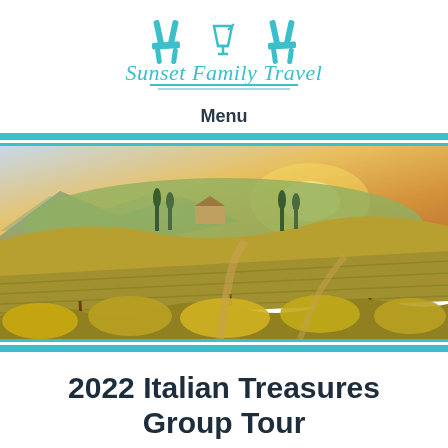[Figure (logo): Sunset Family Travel logo with two beach chairs and a table with drink, teal color, with decorative underline]
Menu
[Figure (photo): Panoramic landscape photo of Italian Tuscan vineyards with rolling hills, golden vines in foreground, villa on hilltop in background, dramatic golden sunset sky]
2022 Italian Treasures Group Tour